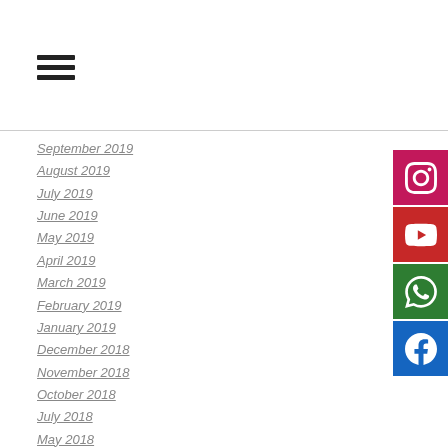[Figure (infographic): Hamburger menu icon (three horizontal lines)]
September 2019
August 2019
July 2019
June 2019
May 2019
April 2019
March 2019
February 2019
January 2019
December 2018
November 2018
October 2018
July 2018
May 2018
April 2018
March 2018
February 2018
January 2018
[Figure (logo): Instagram social media icon button (pink/magenta background)]
[Figure (logo): YouTube social media icon button (red background)]
[Figure (logo): WhatsApp social media icon button (green background)]
[Figure (logo): Facebook social media icon button (blue background)]